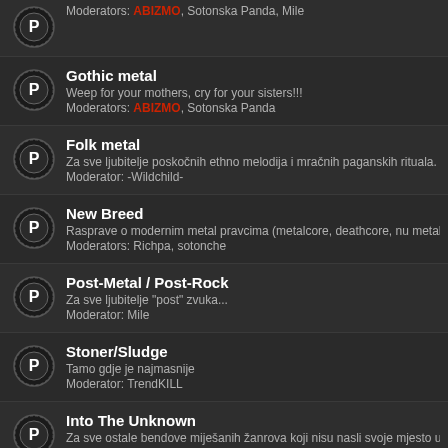Moderators: ABIZMO, Sotonska Panda, Mile
Gothic metal
Weep for your mothers, cry for your sisters!!!
Moderators: ABIZMO, Sotonska Panda
Folk metal
Za sve ljubitelje poskočnih ethno melodija i mračnih paganskih rituala.
Moderator: -Wildchild-
New Breed
Rasprave o modernim metal pravcima (metalcore, deathcore, nu metal i...
Moderators: Richpa, sotonche
Post-Metal / Post-Rock
Za sve ljubitelje "post" zvuka...
Moderator: Mile
Stoner/Sludge
Tamo gdje je najmasnije
Moderator: TrendKILL
Into The Unknown
Za sve ostale bendove miješanih žanrova koji nisu nasli svoje mjesto u...
Moderator: Richpa
NON-METAL GLAZBA